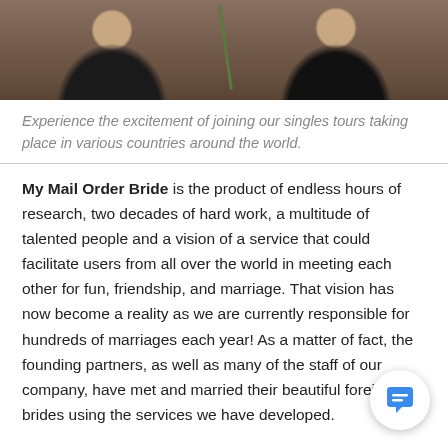[Figure (photo): Photo of two people holding a white rose, cropped to show torsos against a dark background]
Experience the excitement of joining our singles tours taking place in various countries around the world.
My Mail Order Bride is the product of endless hours of research, two decades of hard work, a multitude of talented people and a vision of a service that could facilitate users from all over the world in meeting each other for fun, friendship, and marriage. That vision has now become a reality as we are currently responsible for hundreds of marriages each year! As a matter of fact, the founding partners, as well as many of the staff of our company, have met and married their beautiful foreign brides using the services we have developed.
Our network and services are no stranger to the media, garnering more worldwide media attention than any other company in the singles industry. We have been featured on 60 minutes, Inside Edition, The Today Show, Nightline, Dr. Phil, WE TV, National